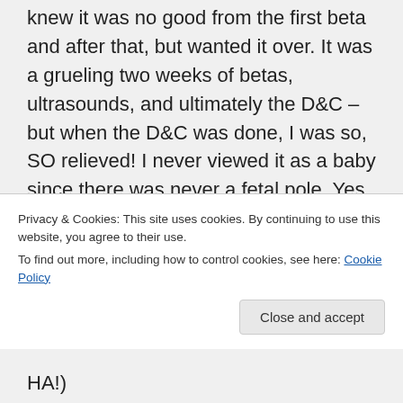knew it was no good from the first beta and after that, but wanted it over. It was a grueling two weeks of betas, ultrasounds, and ultimately the D&C – but when the D&C was done, I was so, SO relieved! I never viewed it as a baby since there was never a fetal pole. Yes, that's how I cope, but … it's how I cope. So I tell everyone about it and there's never sadness or gloom because I was just so glad to have it done. AND – it led to Matthew. All roads led
Privacy & Cookies: This site uses cookies. By continuing to use this website, you agree to their use.
To find out more, including how to control cookies, see here: Cookie Policy
HA!)